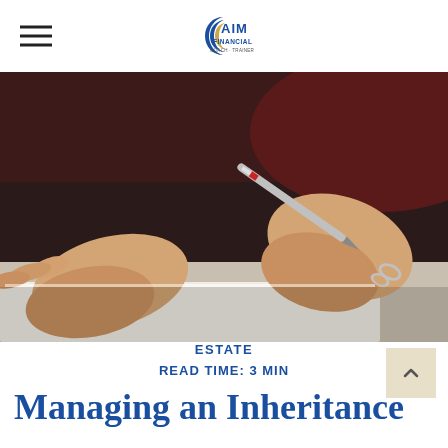AIM Financial
[Figure (photo): Close-up of elderly hands signing a document with a pen, wearing a ring, dark maroon sleeve in background]
ESTATE
READ TIME: 3 MIN
Managing an Inheritance